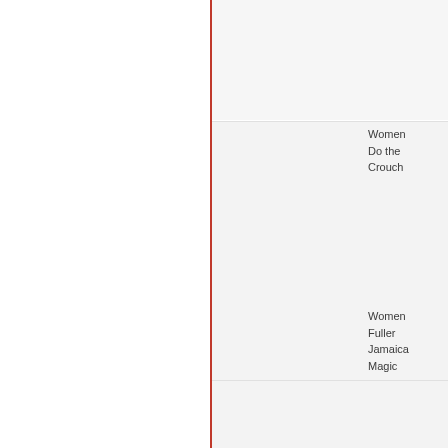Women Do the Crouch
Women Fuller Jamaica Magic